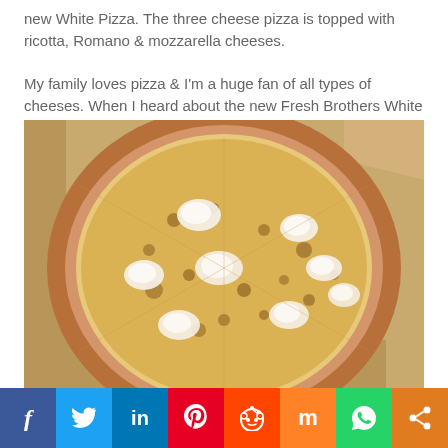new White Pizza. The three cheese pizza is topped with ricotta, Romano & mozzarella cheeses.

My family loves pizza & I'm a huge fan of all types of cheeses. When I heard about the new Fresh Brothers White Pizza, I was eager to try it!
[Figure (photo): A white pizza in a cardboard delivery box, topped with melted mozzarella, ricotta dollops, and Romano cheese, with a golden-brown crust.]
Social share bar with icons: Facebook, Twitter, LinkedIn, Pinterest, Reddit, Mix, WhatsApp, Share